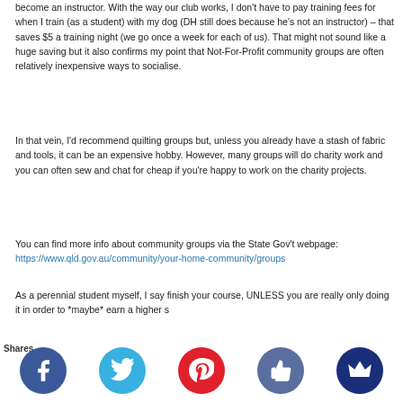become an instructor. With the way our club works, I don't have to pay training fees for when I train (as a student) with my dog (DH still does because he's not an instructor) – that saves $5 a training night (we go once a week for each of us). That might not sound like a huge saving but it also confirms my point that Not-For-Profit community groups are often relatively inexpensive ways to socialise.
In that vein, I'd recommend quilting groups but, unless you already have a stash of fabric and tools, it can be an expensive hobby. However, many groups will do charity work and you can often sew and chat for cheap if you're happy to work on the charity projects.
You can find more info about community groups via the State Gov't webpage: https://www.qld.gov.au/community/your-home-community/groups
As a perennial student myself, I say finish your course, UNLESS you are really only doing it in order to *maybe* earn a higher s...that's...it's m...n the a...do s...ing you a...enjoy f...